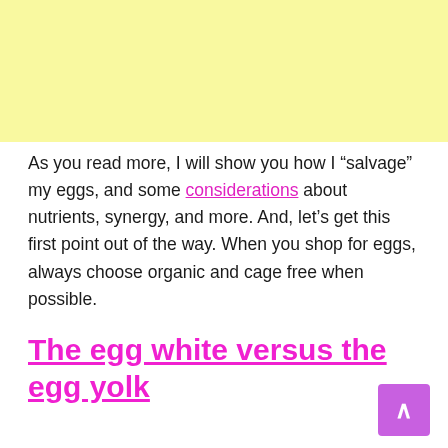[Figure (other): Yellow/light lemon-colored advertisement banner placeholder at top of page]
As you read more, I will show you how I “salvage” my eggs, and some considerations about nutrients, synergy, and more. And, let’s get this first point out of the way. When you shop for eggs, always choose organic and cage free when possible.
The egg white versus the egg yolk